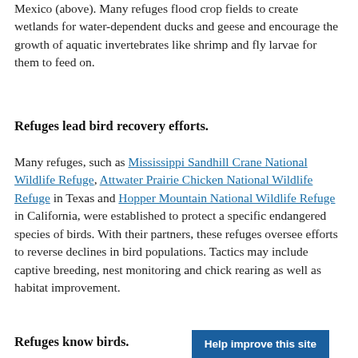Mexico (above). Many refuges flood crop fields to create wetlands for water-dependent ducks and geese and encourage the growth of aquatic invertebrates like shrimp and fly larvae for them to feed on.
Refuges lead bird recovery efforts.
Many refuges, such as Mississippi Sandhill Crane National Wildlife Refuge, Attwater Prairie Chicken National Wildlife Refuge in Texas and Hopper Mountain National Wildlife Refuge in California, were established to protect a specific endangered species of birds. With their partners, these refuges oversee efforts to reverse declines in bird populations. Tactics may include captive breeding, nest monitoring and chick rearing as well as habitat improvement.
Refuges know birds.